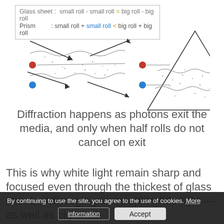[Figure (illustration): Two diagrams showing light diffraction through a glass sheet (left) and a prism (right). Each shows wavy lines representing light rolls, with a red dot and a blue dot indicating two different rays. A legend box at top explains: Glass sheet: small roll - small roll = big roll - big roll; Prism: small roll + small roll < big roll + big roll.]
Diffraction happens as photons exit the media, and only when half rolls do not cancel on exit
This is why white light remain sharp and focused even through the thickest of glass sheets. Although, prisms split white light — as well as big ones.
By continuing to use the site, you agree to the use of cookies. More information  Accept